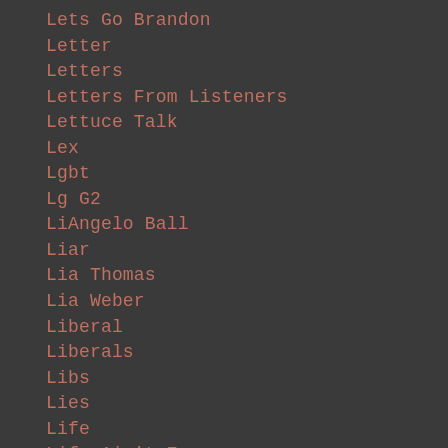Lets Go Brandon
Letter
Letters
Letters From Listeners
Lettuce Talk
Lex
Lgbt
Lg G2
LiAngelo Ball
Liar
Lia Thomas
Lia Weber
Liberal
Liberals
Libs
Lies
Life
Life Ain't Easy
Lifeguard
Lifetime